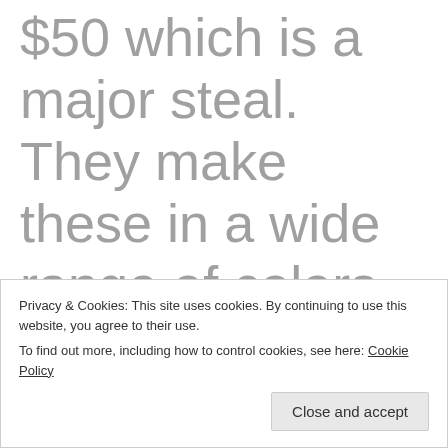$50 which is a major steal. They make these in a wide range of colors which is also fun and makes it so that you feel like you
Privacy & Cookies: This site uses cookies. By continuing to use this website, you agree to their use. To find out more, including how to control cookies, see here: Cookie Policy